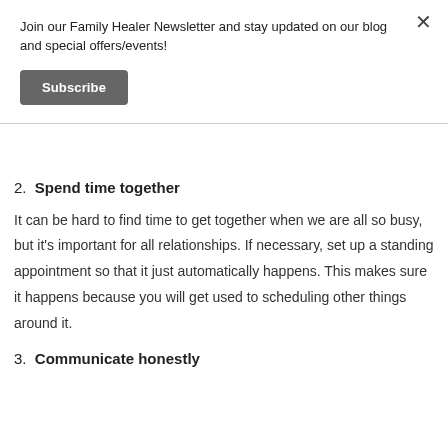Join our Family Healer Newsletter and stay updated on our blog and special offers/events!
Subscribe
2. Spend time together
It can be hard to find time to get together when we are all so busy, but it's important for all relationships. If necessary, set up a standing appointment so that it just automatically happens. This makes sure it happens because you will get used to scheduling other things around it.
3. Communicate honestly